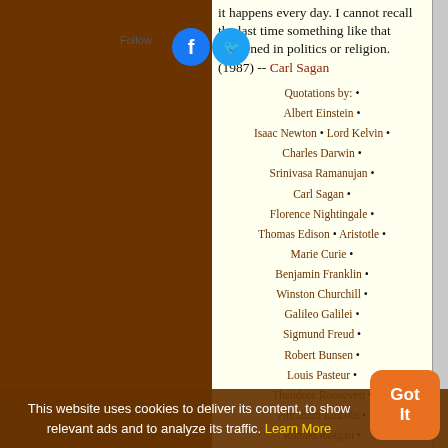it happens every day. I cannot recall the last time something like that happened in politics or religion. (1987) -- Carl Sagan
Quotations by: •
Albert Einstein •
Isaac Newton • Lord Kelvin •
Charles Darwin •
Srinivasa Ramanujan •
Carl Sagan •
Florence Nightingale •
Thomas Edison • Aristotle •
Marie Curie •
Benjamin Franklin •
Winston Churchill •
Galileo Galilei •
Sigmund Freud •
Robert Bunsen •
Louis Pasteur •
Theodore Roosevelt •
Abraham Lincoln •
Ronald Reagan •
Leonardo da Vinci •
Michio Kaku • Karl Popper •
Johann Goethe •
Robert Oppenheimer •
This website uses cookies to deliver its content, to show relevant ads and to analyze its traffic. Learn More
Got It